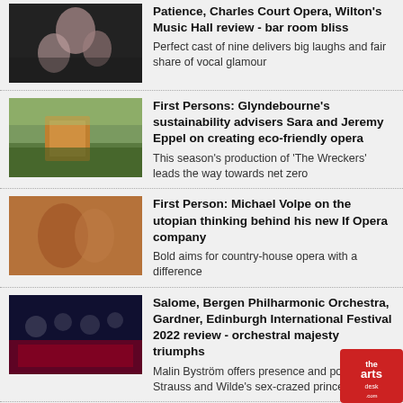Patience, Charles Court Opera, Wilton's Music Hall review - bar room bliss
Perfect cast of nine delivers big laughs and fair share of vocal glamour
First Persons: Glyndebourne's sustainability advisers Sara and Jeremy Eppel on creating eco-friendly opera
This season's production of 'The Wreckers' leads the way towards net zero
First Person: Michael Volpe on the utopian thinking behind his new If Opera company
Bold aims for country-house opera with a difference
Salome, Bergen Philharmonic Orchestra, Gardner, Edinburgh International Festival 2022 review - orchestral majesty triumphs
Malin Byström offers presence and power as Strauss and Wilde's sex-crazed princess
La Voix humaine/Les Mamelles de Tirésias, Glync... review - phantasmagorical wonders
Visual and aural beauty, strong performances, in a stunning double-bill from Laurent Pelly